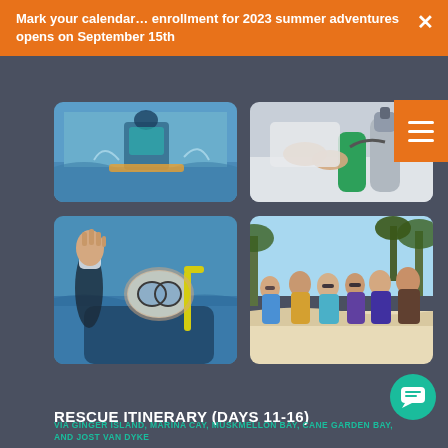Mark your calendar... enrollment for 2023 summer adventures opens on September 15th
[Figure (photo): Person wakeboarding/surfing in blue water]
[Figure (photo): Hands working with scuba diving oxygen tank equipment on a boat]
[Figure (photo): Young person snorkeling in ocean with mask and yellow snorkel, waving at camera]
[Figure (photo): Group of teenagers posing together on white sandy beach with palm trees]
RESCUE ITINERARY (DAYS 11-16)
VIA GINGER ISLAND, MARINA CAY, MUSKMELLON BAY, CANE GARDEN BAY, AND JOST VAN DYKE